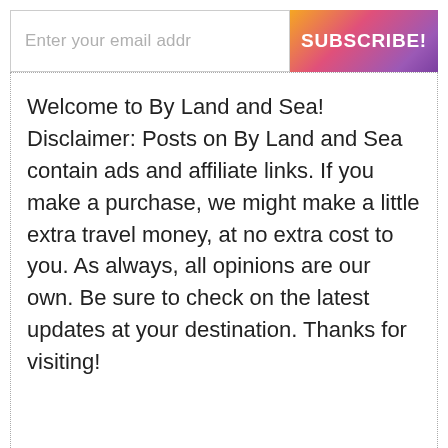[Figure (screenshot): Email subscription bar with text input field showing placeholder 'Enter your email addr' and a gradient Subscribe button]
Welcome to By Land and Sea! Disclaimer: Posts on By Land and Sea contain ads and affiliate links. If you make a purchase, we might make a little extra travel money, at no extra cost to you. As always, all opinions are our own. Be sure to check on the latest updates at your destination. Thanks for visiting!
Related
[Figure (photo): Two thumbnail images for related articles — left: outdoor landscape scene with warm tones, right: blue sky/water scene]